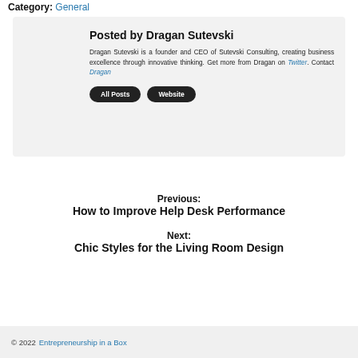Category: General
[Figure (photo): Circular profile photo of Dragan Sutevski on a yellow background]
Posted by Dragan Sutevski
Dragan Sutevski is a founder and CEO of Sutevski Consulting, creating business excellence through innovative thinking. Get more from Dragan on Twitter. Contact Dragan
All Posts  Website
Previous:
How to Improve Help Desk Performance
Next:
Chic Styles for the Living Room Design
© 2022 Entrepreneurship in a Box